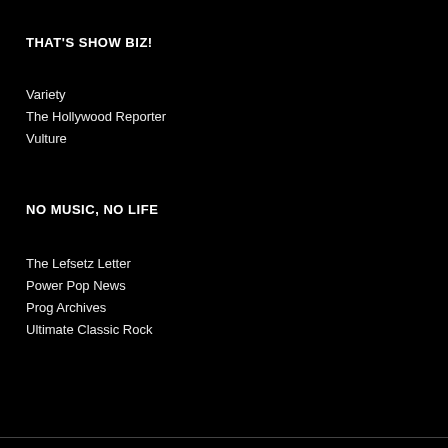THAT'S SHOW BIZ!
Variety
The Hollywood Reporter
Vulture
NO MUSIC, NO LIFE
The Lefsetz Letter
Power Pop News
Prog Archives
Ultimate Classic Rock